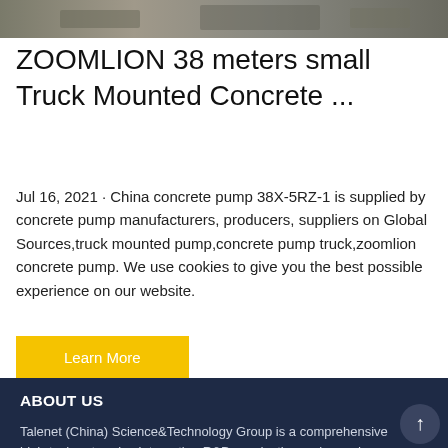[Figure (photo): Top portion of a construction/concrete pump truck photograph, partially cropped]
ZOOMLION 38 meters small Truck Mounted Concrete ...
Jul 16, 2021 · China concrete pump 38X-5RZ-1 is supplied by concrete pump manufacturers, producers, suppliers on Global Sources,truck mounted pump,concrete pump truck,zoomlion concrete pump. We use cookies to give you the best possible experience on our website.
Learn More
ABOUT US
Talenet (China) Science&Technology Group is a comprehensive high-tech enterprise integrating R&D, production, sales and service.